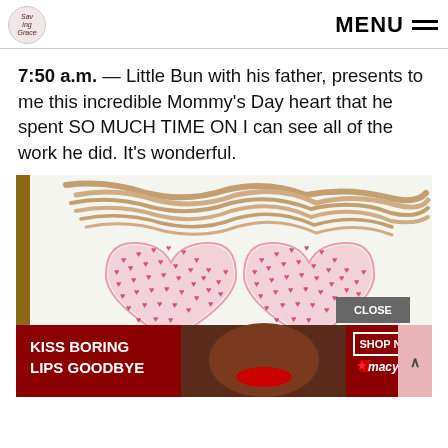MENU
7:50 a.m. — Little Bun with his father, presents to me this incredible Mommy's Day heart that he spent SO MUCH TIME ON I can see all of the work he did. It's wonderful.
[Figure (photo): Child's crayon drawing of a heart filled with smaller hearts in pink/red on white paper, with brown scribble at top. An advertisement overlay appears at the bottom: 'KISS BORING LIPS GOODBYE' with SHOP NOW and Macy's branding.]